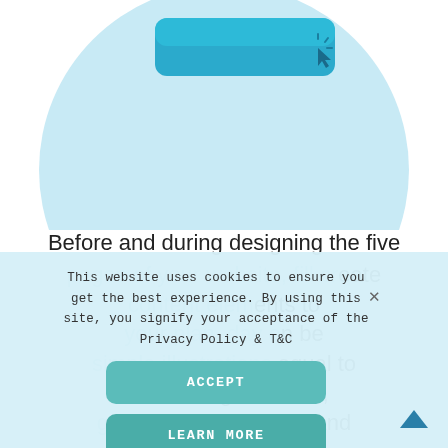[Figure (illustration): A circular light blue illustration showing a teal/blue rounded rectangle button with a cursor/click icon on it, cropped at top of page]
Before and during designing the five pages of your website, fill create content elements to your plan, day can be simple illustrations equal to actual image holders, give digital signatures and so on.
This website uses cookies to ensure you get the best experience. By using this site, you signify your acceptance of the Privacy Policy & T&C